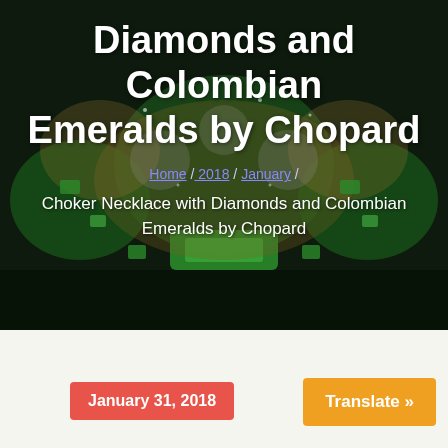[Figure (photo): Close-up photograph of a Chopard choker necklace featuring large Colombian emeralds and diamonds set in gold, shown against a dark background.]
Diamonds and Colombian Emeralds by Chopard
Home / 2018 / January /
Choker Necklace with Diamonds and Colombian Emeralds by Chopard
January 31, 2018
Translate »